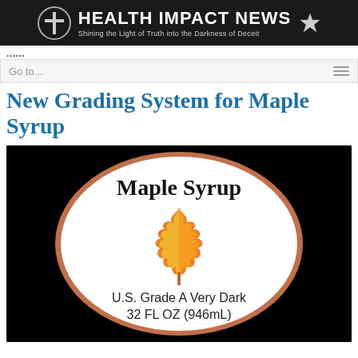HEALTH IMPACT NEWS — Shining the Light of Truth into the Darkness of Deceit
Go to...
New Grading System for Maple Syrup
[Figure (illustration): Maple syrup label on a black background. An oval white label with a brown border shows 'Maple Syrup' at the top in large black serif text, a colorful orange-yellow maple leaf illustration in the center, and 'U.S. Grade A Very Dark 32 FL OZ (946mL)' at the bottom.]